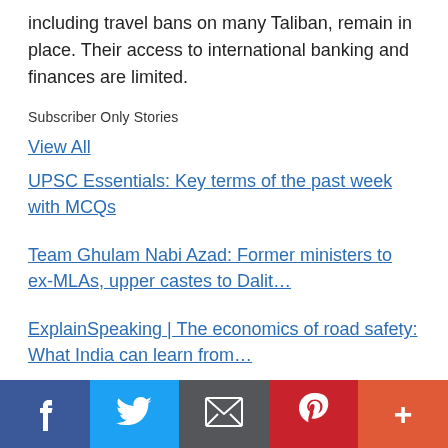including travel bans on many Taliban, remain in place. Their access to international banking and finances are limited.
Subscriber Only Stories
View All
UPSC Essentials: Key terms of the past week with MCQs
Team Ghulam Nabi Azad: Former ministers to ex-MLAs, upper castes to Dalit…
ExplainSpeaking | The economics of road safety: What India can learn from…
Social share bar: Facebook, Twitter, Email, Pinterest, More